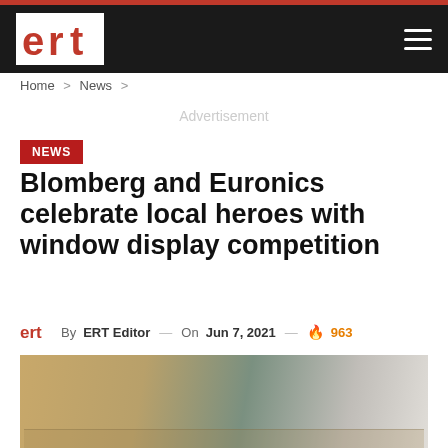ERT News website navigation bar with ERT logo and hamburger menu
Home > News >
Advertisement
NEWS
Blomberg and Euronics celebrate local heroes with window display competition
By ERT Editor — On Jun 7, 2021 — 🔥 963
[Figure (photo): Photo of a store window display with cardboard boxes and people visible in background]